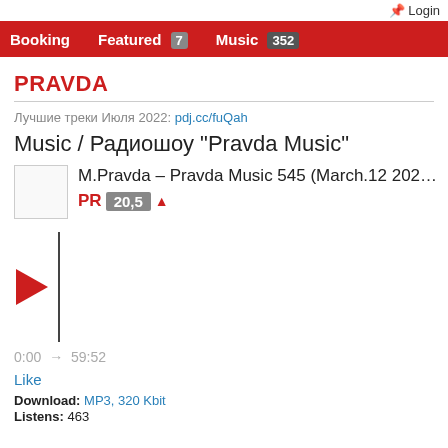Login
Booking | Featured 7 | Music 352
PRAVDA
Лучшие треки Июля 2022: pdj.cc/fuQah
Music / Радиошоу "Pravda Music"
M.Pravda – Pravda Music 545 (March.12 202…
PR 20,5 ▲
0:00 → 59:52
Like
Download: MP3, 320 Kbit
Listens: 463